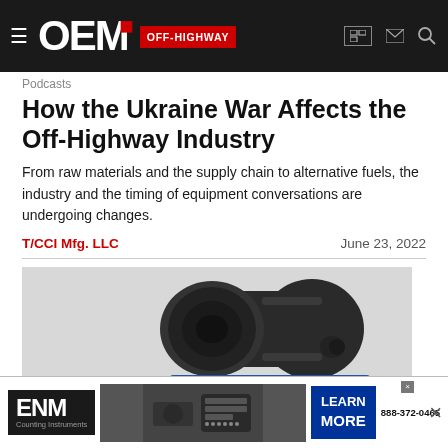OEM OFF-HIGHWAY
Podcasts
How the Ukraine War Affects the Off-Highway Industry
From raw materials and the supply chain to alternative fuels, the industry and the timing of equipment conversations are undergoing changes.
T/CCI Mfg. LLC    June 23, 2022
[Figure (photo): Industrial component — appears to be a cabin filtration or HVAC unit, dark colored cylindrical device, with a blue control/display unit partially visible below]
Cabin Filtra...
[Figure (advertisement): ENM Counting Instruments advertisement — 'LEARN MORE 888-372-0465']